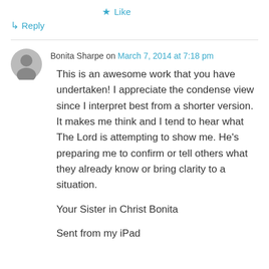★ Like
↳ Reply
Bonita Sharpe on March 7, 2014 at 7:18 pm
This is an awesome work that you have undertaken! I appreciate the condense view since I interpret best from a shorter version. It makes me think and I tend to hear what The Lord is attempting to show me. He's preparing me to confirm or tell others what they already know or bring clarity to a situation.

Your Sister in Christ Bonita

Sent from my iPad